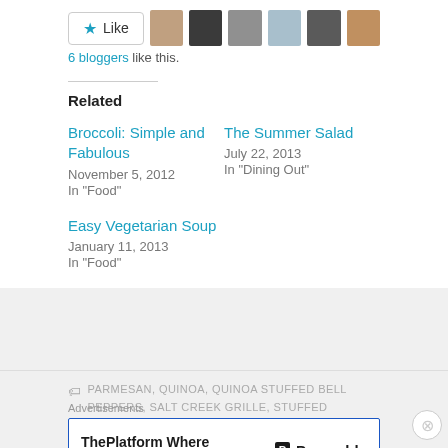[Figure (other): Like button and 6 blogger avatar thumbnails in a row]
6 bloggers like this.
Related
Broccoli: Simple and Fabulous
November 5, 2012
In "Food"
The Summer Salad
July 22, 2013
In "Dining Out"
Easy Vegetarian Soup
January 11, 2013
In "Food"
PARMESAN, QUINOA, QUINOA STUFFED BELL PEPPERS, SALT CREEK GRILLE, STUFFED PEPPERS,
Advertisements
[Figure (other): Pressable advertisement: ThePlatform Where WordPress Works Best]